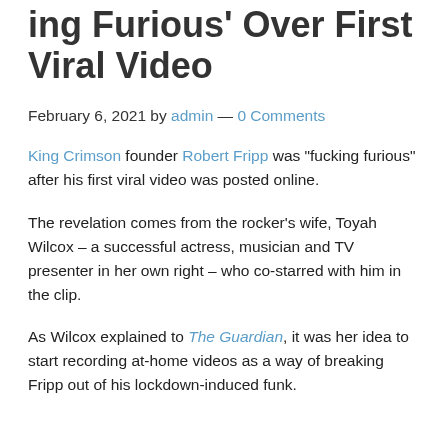ing Furious' Over First Viral Video
February 6, 2021 by admin — 0 Comments
King Crimson founder Robert Fripp was "fucking furious" after his first viral video was posted online.
The revelation comes from the rocker's wife, Toyah Wilcox – a successful actress, musician and TV presenter in her own right – who co-starred with him in the clip.
As Wilcox explained to The Guardian, it was her idea to start recording at-home videos as a way of breaking Fripp out of his lockdown-induced funk.